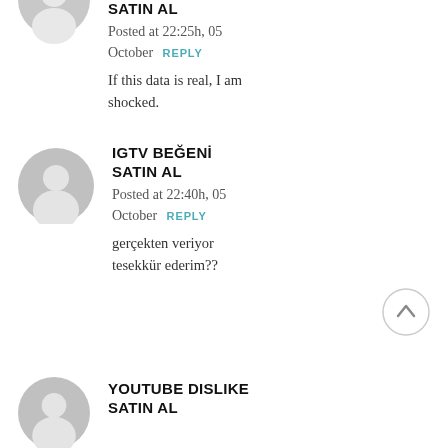[Figure (illustration): Grey default avatar circle for first commenter, partially cropped at top]
SATIN AL
Posted at 22:25h, 05 October  REPLY
If this data is real, I am shocked.
[Figure (illustration): Grey default avatar circle with person silhouette for second commenter]
IGTV BEĞENİ SATIN AL
Posted at 22:40h, 05 October  REPLY
gerçekten veriyor tesekkür ederim??
[Figure (illustration): Scroll-to-top button circle with upward arrow]
[Figure (illustration): Grey default avatar circle for third commenter, partially cropped at bottom]
YOUTUBE DISLIKE SATIN AL